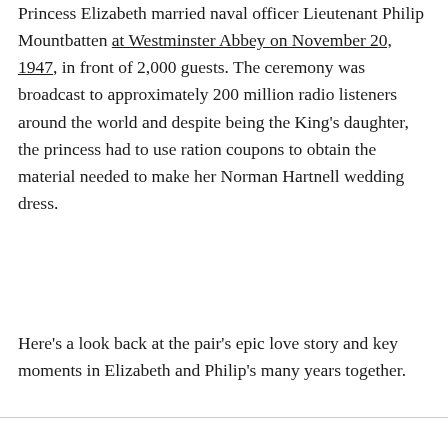Princess Elizabeth married naval officer Lieutenant Philip Mountbatten at Westminster Abbey on November 20, 1947, in front of 2,000 guests. The ceremony was broadcast to approximately 200 million radio listeners around the world and despite being the King's daughter, the princess had to use ration coupons to obtain the material needed to make her Norman Hartnell wedding dress.
Here's a look back at the pair's epic love story and key moments in Elizabeth and Philip's many years together.